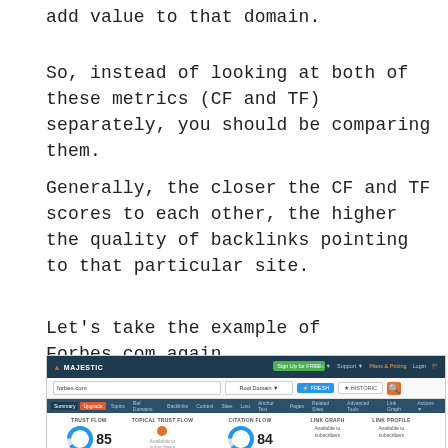add value to that domain.
So, instead of looking at both of these metrics (CF and TF) separately, you should be comparing them.
Generally, the closer the CF and TF scores to each other, the higher the quality of backlinks pointing to that particular site.
Let’s take the example of Forbes.com again.
[Figure (screenshot): Screenshot of Majestic SEO tool showing Forbes.com analysis with Trust Flow score of 85 and Citation Flow score of 84, along with navigation tabs and metric columns for Topical Trust Flow, Link Graph, and Link Profile.]